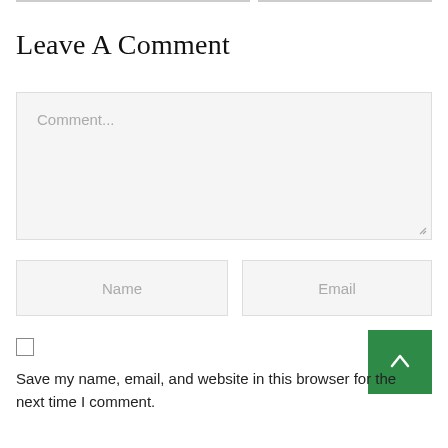Leave A Comment
[Figure (screenshot): Comment text area input field with placeholder text 'Comment...' and a resize handle at bottom right]
[Figure (screenshot): Two side-by-side input fields: Name (left) and Email (right) with placeholder text]
[Figure (screenshot): Green scroll-to-top button with upward arrow icon]
Save my name, email, and website in this browser for the next time I comment.